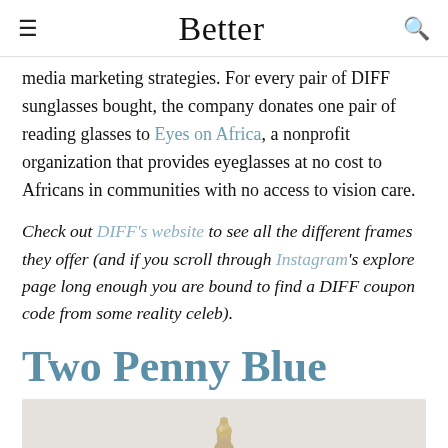Better
media marketing strategies. For every pair of DIFF sunglasses bought, the company donates one pair of reading glasses to Eyes on Africa, a nonprofit organization that provides eyeglasses at no cost to Africans in communities with no access to vision care.
Check out DIFF's website to see all the different frames they offer (and if you scroll through Instagram's explore page long enough you are bound to find a DIFF coupon code from some reality celeb).
Two Penny Blue
[Figure (photo): Partial image of a gold/brass decorative object on a light grey background, cropped at the bottom of the page]